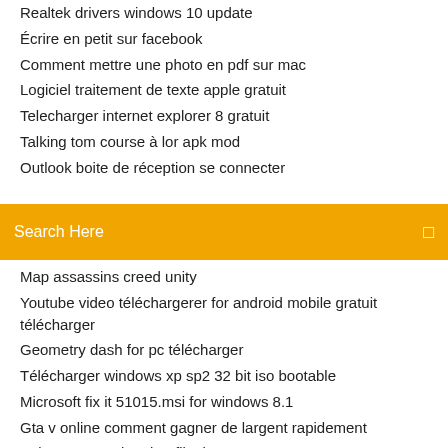Realtek drivers windows 10 update
Écrire en petit sur facebook
Comment mettre une photo en pdf sur mac
Logiciel traitement de texte apple gratuit
Telecharger internet explorer 8 gratuit
Talking tom course à lor apk mod
Outlook boite de réception se connecter
Search Here
Map assassins creed unity
Youtube video téléchargerer for android mobile gratuit télécharger
Geometry dash for pc télécharger
Télécharger windows xp sp2 32 bit iso bootable
Microsoft fix it 51015.msi for windows 8.1
Gta v online comment gagner de largent rapidement
Enlever protection drm film itunes
Télécharger open office 2019 en français
Telecharger film en anglais sous titré anglais gratuit